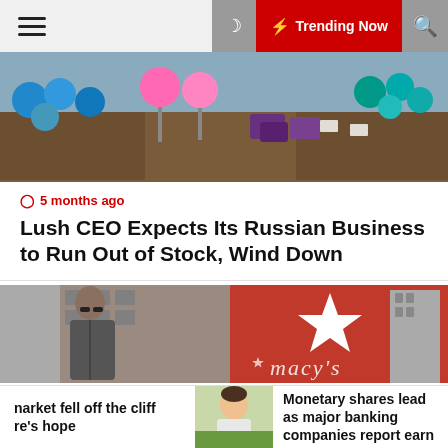Trending Now
[Figure (photo): Colorful candy/chocolate products displayed in wooden boxes at a store]
5 months ago
Lush CEO Expects Its Russian Business to Run Out of Stock, Wind Down
[Figure (photo): Man with sunglasses walking in front of Macy's department store red sign with white star]
narket fell off the cliff re's hope
[Figure (photo): Person in light colored jacket outdoors]
Monetary shares lead as major banking companies report earn